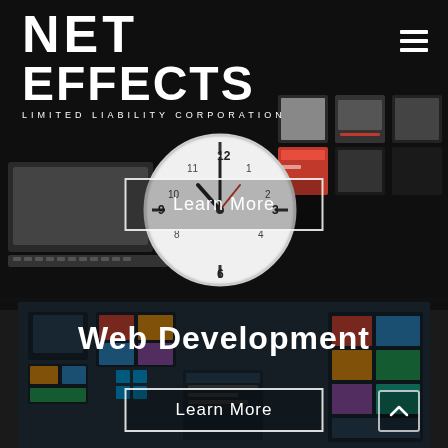[Figure (screenshot): Net Effects LLC website screenshot showing logo, hamburger menu, clock/desk background image with a 'Learn More' button overlay, and a Web Development section with another 'Learn More' button and back-to-top arrow.]
NET EFFECTS LIMITED LIABILITY CORPORATION
Learn More
Web Development
Learn More